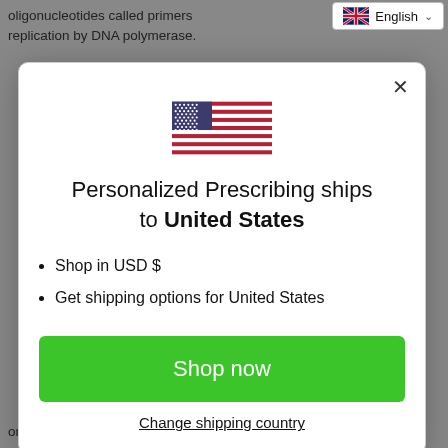oligonucleotides called primers replication by DNA polymerase.
[Figure (screenshot): Language selector dropdown showing English with UK flag]
[Figure (illustration): US flag emoji/icon centered in modal]
Personalized Prescribing ships to United States
Shop in USD $
Get shipping options for United States
Shop now
Change shipping country
one SNP for approximately every 100 bases.